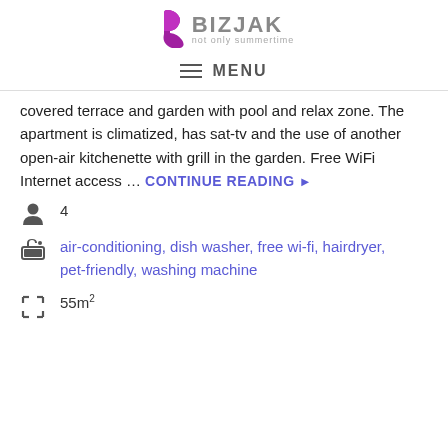BIZJAK — not only summertime (logo)
MENU
covered terrace and garden with pool and relax zone. The apartment is climatized, has sat-tv and the use of another open-air kitchenette with grill in the garden. Free WiFi Internet access … CONTINUE READING ▶
4 (guests icon)
air-conditioning, dish washer, free wi-fi, hairdryer, pet-friendly, washing machine
55m²